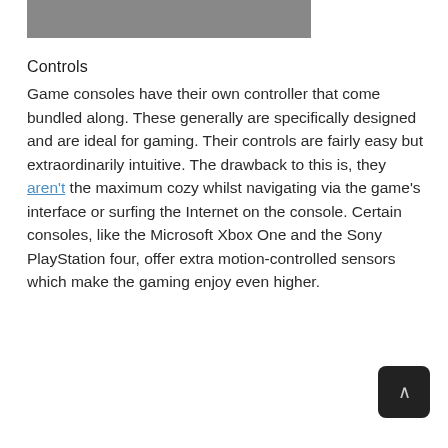[Figure (photo): Partial image visible at top of page, gray/dark rectangle crop]
Controls
Game consoles have their own controller that come bundled along. These generally are specifically designed and are ideal for gaming. Their controls are fairly easy but extraordinarily intuitive. The drawback to this is, they aren't the maximum cozy whilst navigating via the game's interface or surfing the Internet on the console. Certain consoles, like the Microsoft Xbox One and the Sony PlayStation four, offer extra motion-controlled sensors which make the gaming enjoy even higher.